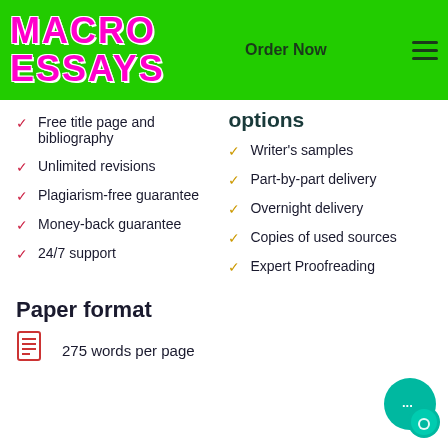[Figure (logo): Macro Essays logo with pink text on green background, 'MACRO ESSAYS']
Order Now
options
Free title page and bibliography
Unlimited revisions
Plagiarism-free guarantee
Money-back guarantee
24/7 support
Writer's samples
Part-by-part delivery
Overnight delivery
Copies of used sources
Expert Proofreading
Paper format
275 words per page